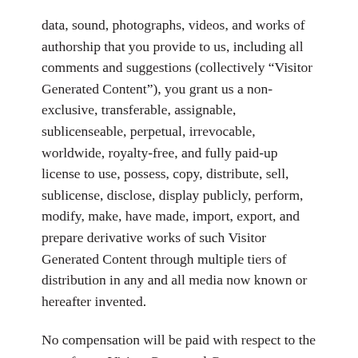data, sound, photographs, videos, and works of authorship that you provide to us, including all comments and suggestions (collectively “Visitor Generated Content”), you grant us a non-exclusive, transferable, assignable, sublicenseable, perpetual, irrevocable, worldwide, royalty-free, and fully paid-up license to use, possess, copy, distribute, sell, sublicense, disclose, display publicly, perform, modify, make, have made, import, export, and prepare derivative works of such Visitor Generated Content through multiple tiers of distribution in any and all media now known or hereafter invented.
No compensation will be paid with respect to the use of your Visitor Generated Content, as provided herein. We are under no obligation to post or use any Visitor Generated Content you may provide and may remove any Visitor Generated Content at any time in our sole discretion.